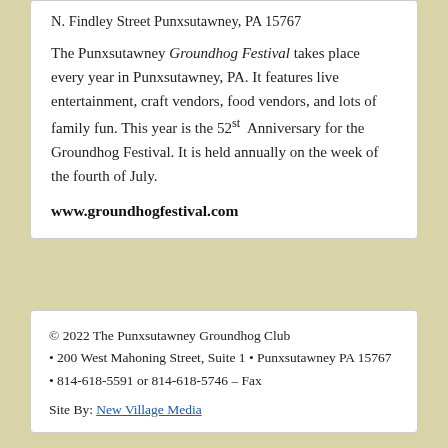N. Findley Street Punxsutawney, PA 15767
The Punxsutawney Groundhog Festival takes place every year in Punxsutawney, PA. It features live entertainment, craft vendors, food vendors, and lots of family fun. This year is the 52nd Anniversary for the Groundhog Festival. It is held annually on the week of the fourth of July.
www.groundhogfestival.com
© 2022 The Punxsutawney Groundhog Club • 200 West Mahoning Street, Suite 1 • Punxsutawney PA 15767 • 814-618-5591 or 814-618-5746 – Fax Site By: New Village Media